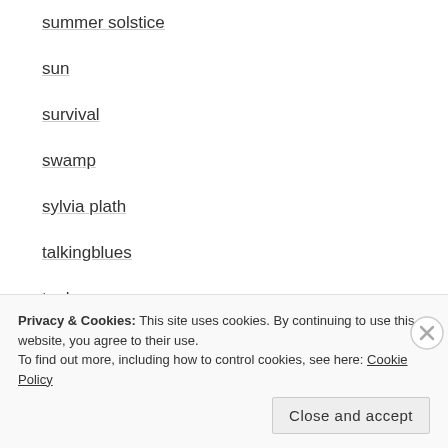summer solstice
sun
survival
swamp
sylvia plath
talkingblues
tanka
Tao Te Ching
tarot
teens
Privacy & Cookies: This site uses cookies. By continuing to use this website, you agree to their use. To find out more, including how to control cookies, see here: Cookie Policy
Close and accept